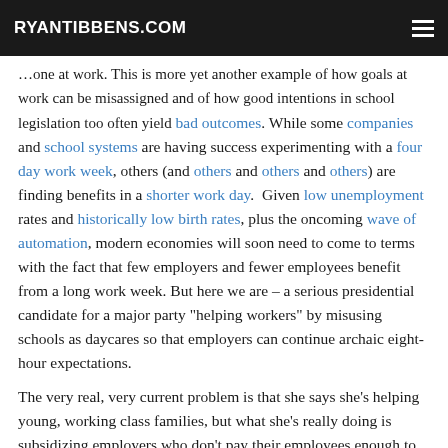RYANTIBBENS.COM
... in school legislation too often yield bad outcomes. While some companies and school systems are having success experimenting with a four day work week, others (and others and others and others) are finding benefits in a shorter work day.  Given low unemployment rates and historically low birth rates, plus the oncoming wave of automation, modern economies will soon need to come to terms with the fact that few employers and fewer employees benefit from a long work week. But here we are – a serious presidential candidate for a major party “helping workers” by misusing schools as daycares so that employers can continue archaic eight-hour expectations.
The very real, very current problem is that she says she's helping young, working class families, but what she's really doing is subsidizing employers who don't pay their employees enough to afford decent childcare or those who require ...